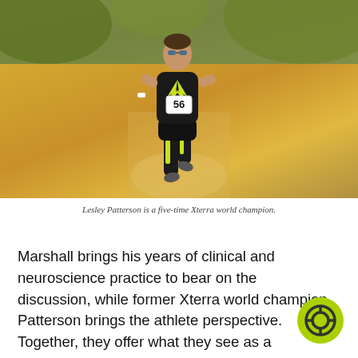[Figure (photo): An athlete wearing race number 56 and a black-and-yellow Ravehart Liv triathlon suit running on a dirt trail through golden sunny grasslands. The runner is a woman wearing sunglasses.]
Lesley Patterson is a five-time Xterra world champion.
Marshall brings his years of clinical and neuroscience practice to bear on the discussion, while former Xterra world champion Patterson brings the athlete perspective. Together, they offer what they see as a fundamentally educational, humanistic, and holistic approach to training the brain.